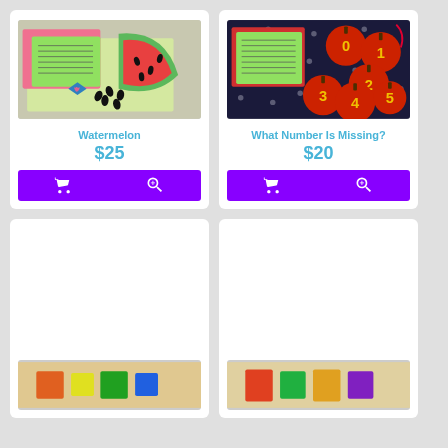[Figure (photo): Product photo of Watermelon educational activity set with fabric, watermelon slice, seeds, and activity cards]
Watermelon
$25
[Figure (photo): Product photo of What Number Is Missing? educational activity with numbered apple pieces 0-5 on patterned fabric]
What Number Is Missing?
$20
[Figure (photo): Partial product photo at bottom left]
[Figure (photo): Partial product photo at bottom right]